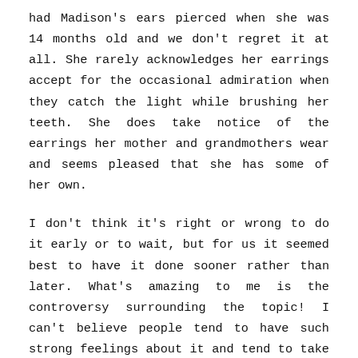had Madison's ears pierced when she was 14 months old and we don't regret it at all. She rarely acknowledges her earrings accept for the occasional admiration when they catch the light while brushing her teeth. She does take notice of the earrings her mother and grandmothers wear and seems pleased that she has some of her own.
I don't think it's right or wrong to do it early or to wait, but for us it seemed best to have it done sooner rather than later. What's amazing to me is the controversy surrounding the topic! I can't believe people tend to have such strong feelings about it and tend to take a solid stance on one side of the fence.